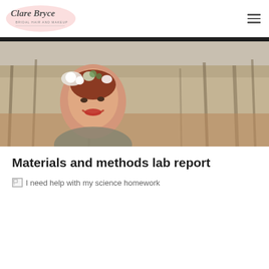[Figure (logo): Clare Bryce Bridal Hair and Makeup logo with script text on a pink background]
[Figure (photo): A woman smiling outdoors, wearing a floral crown with white flowers and greenery, surrounded by bare trees in a forest setting]
Materials and methods lab report
[Figure (other): Broken image icon followed by text: I need help with my science homework]